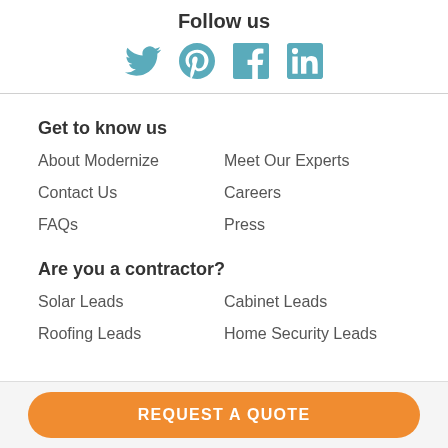Follow us
[Figure (illustration): Social media icons: Twitter, Pinterest, Facebook, LinkedIn in teal color]
Get to know us
About Modernize
Meet Our Experts
Contact Us
Careers
FAQs
Press
Are you a contractor?
Solar Leads
Cabinet Leads
Roofing Leads
Home Security Leads
REQUEST A QUOTE